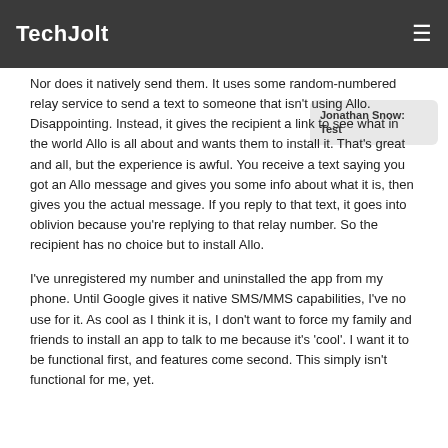TechJolt
[Figure (screenshot): A chat message bubble showing 'Jonathan Snow: Test']
Nor does it natively send them. It uses some random-numbered relay service to send a text to someone that isn't using Allo. Disappointing. Instead, it gives the recipient a link to see what in the world Allo is all about and wants them to install it. That's great and all, but the experience is awful. You receive a text saying you got an Allo message and gives you some info about what it is, then gives you the actual message. If you reply to that text, it goes into oblivion because you're replying to that relay number. So the recipient has no choice but to install Allo.
I've unregistered my number and uninstalled the app from my phone. Until Google gives it native SMS/MMS capabilities, I've no use for it. As cool as I think it is, I don't want to force my family and friends to install an app to talk to me because it's 'cool'. I want it to be functional first, and features come second. This simply isn't functional for me, yet.